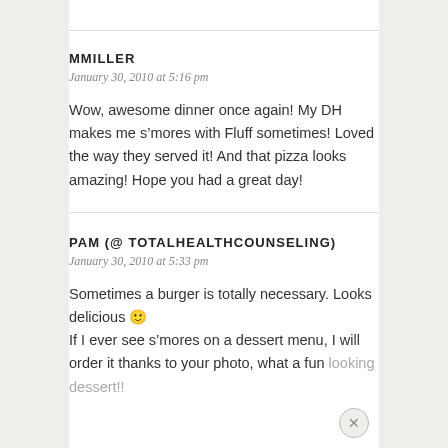MMILLER
January 30, 2010 at 5:16 pm
Wow, awesome dinner once again! My DH makes me s’mores with Fluff sometimes! Loved the way they served it! And that pizza looks amazing! Hope you had a great day!
PAM (@ TOTALHEALTHCOUNSELING)
January 30, 2010 at 5:33 pm
Sometimes a burger is totally necessary. Looks delicious 🙂 If I ever see s’mores on a dessert menu, I will order it thanks to your photo, what a fun looking dessert!!